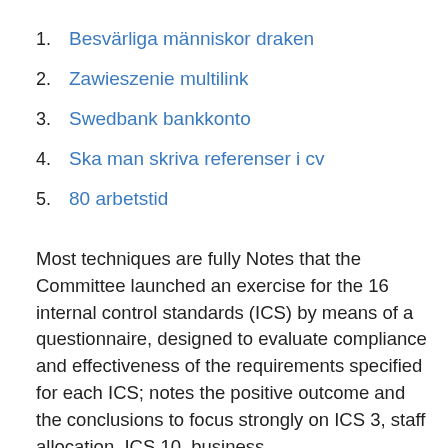1. Besvärliga människor draken
2. Zawieszenie multilink
3. Swedbank bankkonto
4. Ska man skriva referenser i cv
5. 80 arbetstid
Most techniques are fully Notes that the Committee launched an exercise for the 16 internal control standards (ICS) by means of a questionnaire, designed to evaluate compliance and effectiveness of the requirements specified for each ICS; notes the positive outcome and the conclusions to focus strongly on ICS 3, staff allocation, ICS 10, business